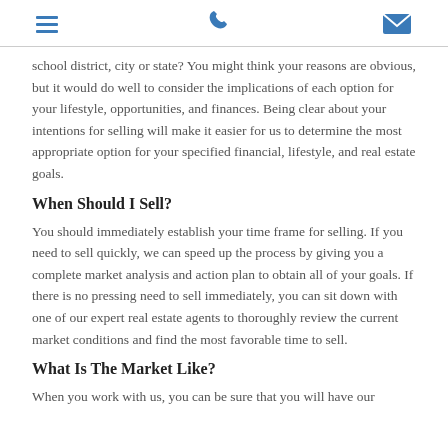[menu icon] [phone icon] [mail icon]
school district, city or state? You might think your reasons are obvious, but it would do well to consider the implications of each option for your lifestyle, opportunities, and finances. Being clear about your intentions for selling will make it easier for us to determine the most appropriate option for your specified financial, lifestyle, and real estate goals.
When Should I Sell?
You should immediately establish your time frame for selling. If you need to sell quickly, we can speed up the process by giving you a complete market analysis and action plan to obtain all of your goals. If there is no pressing need to sell immediately, you can sit down with one of our expert real estate agents to thoroughly review the current market conditions and find the most favorable time to sell.
What Is The Market Like?
When you work with us, you can be sure that you will have our